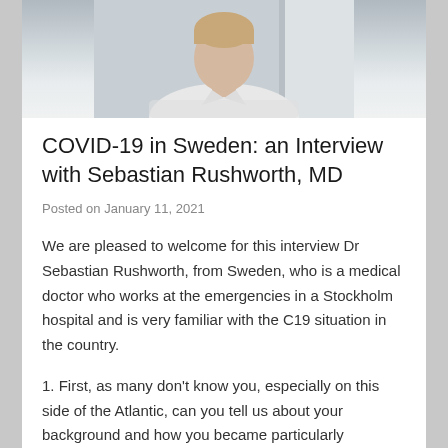[Figure (photo): Portrait photo of a young man wearing a light-colored striped shirt, cropped to show head and upper torso against a light background]
COVID-19 in Sweden: an Interview with Sebastian Rushworth, MD
Posted on January 11, 2021
We are pleased to welcome for this interview Dr Sebastian Rushworth, from Sweden, who is a medical doctor who works at the emergencies in a Stockholm hospital and is very familiar with the C19 situation in the country.
1. First, as many don't know you, especially on this side of the Atlantic, can you tell us about your background and how you became particularly